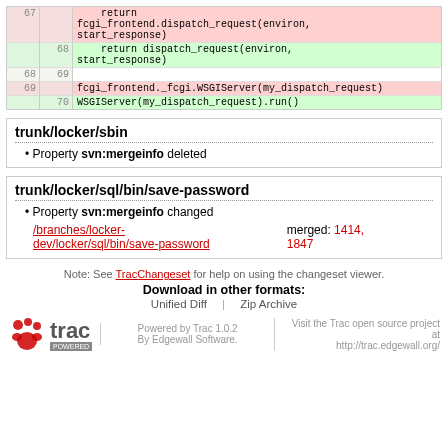| old | new | code |
| --- | --- | --- |
| 67 |  |     return
fcgi_frontend.dispatch_request(environ,
start_response) |
|  | 68 |     return dispatch_request(environ,
start_response) |
| 68 | 69 |  |
| 69 |  | fcgi_frontend._fcgi.WSGIServer(my_dispatch_request) |
|  | 70 | WSGIServer(my_dispatch_request).run() |
trunk/locker/sbin
Property svn:mergeinfo deleted
trunk/locker/sql/bin/save-password
Property svn:mergeinfo changed
/branches/locker-dev/locker/sql/bin/save-password   merged: 1414, 1847
Note: See TracChangeset for help on using the changeset viewer.
Download in other formats:
Unified Diff | Zip Archive
Powered by Trac 1.0.2 By Edgewall Software.  Visit the Trac open source project at http://trac.edgewall.org/